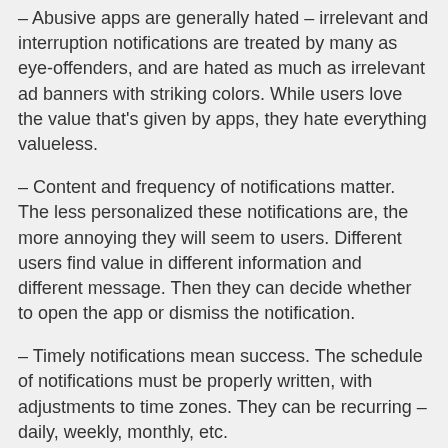– Abusive apps are generally hated – irrelevant and interruption notifications are treated by many as eye-offenders, and are hated as much as irrelevant ad banners with striking colors. While users love the value that's given by apps, they hate everything valueless.
– Content and frequency of notifications matter. The less personalized these notifications are, the more annoying they will seem to users. Different users find value in different information and different message. Then they can decide whether to open the app or dismiss the notification.
– Timely notifications mean success. The schedule of notifications must be properly written, with adjustments to time zones. They can be recurring – daily, weekly, monthly, etc.
– It is always recommended to take notice that push notifications, requiring Internet access, drain the smartphone battery – another good reason for not to overdo it.